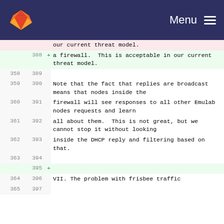GitLab navigation with Menu and hamburger icon
| old_line | new_line |  | code |
| --- | --- | --- | --- |
|  |  |  | our current threat model. |
|  | 388 | + | a firewall.  This is acceptable in our current threat model. |
| 358 | 389 |  |  |
| 359 | 390 |  | Note that the fact that replies are broadcast means that nodes inside the |
| 360 | 391 |  | firewall will see responses to all other Emulab nodes requests and learn |
| 361 | 392 |  | all about them.  This is not great, but we cannot stop it without looking |
| 362 | 393 |  | inside the DHCP reply and filtering based on that. |
| 363 | 394 |  |  |
|  | 395 | + |  |
| 364 | 396 |  | VII. The problem with frisbee traffic |
| 365 | 397 |  |  |